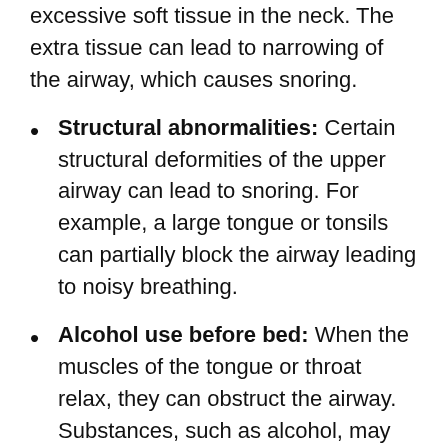excessive soft tissue in the neck. The extra tissue can lead to narrowing of the airway, which causes snoring.
Structural abnormalities: Certain structural deformities of the upper airway can lead to snoring. For example, a large tongue or tonsils can partially block the airway leading to noisy breathing.
Alcohol use before bed: When the muscles of the tongue or throat relax, they can obstruct the airway. Substances, such as alcohol, may cause the muscles to relax and contribute to snoring.
Although some people snore every night, others may snore only intermittently. That’s because the position you sleep in may affect